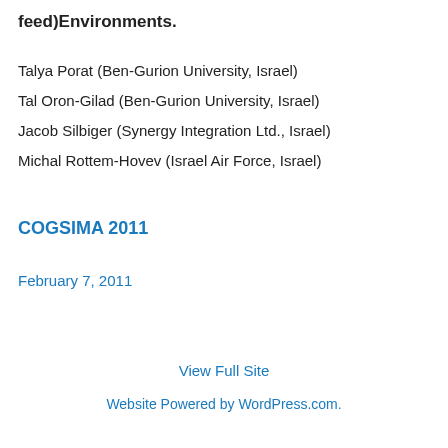feed)Environments.
Talya Porat (Ben-Gurion University, Israel)
Tal Oron-Gilad (Ben-Gurion University, Israel)
Jacob Silbiger (Synergy Integration Ltd., Israel)
Michal Rottem-Hovev (Israel Air Force, Israel)
COGSIMA 2011
February 7, 2011
View Full Site
Website Powered by WordPress.com.